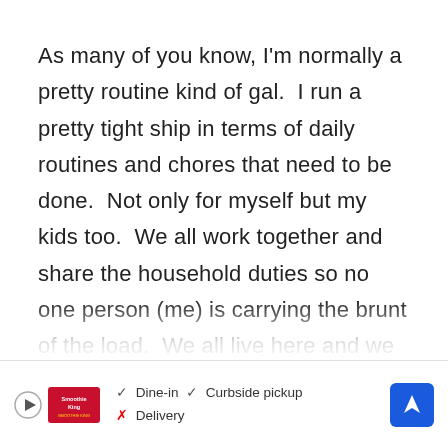As many of you know, I'm normally a pretty routine kind of gal.  I run a pretty tight ship in terms of daily routines and chores that need to be done.  Not only for myself but my kids too.  We all work together and share the household duties so no one person (me) is carrying the brunt of the load.  We all live here and we all make the mess so we all contribute to the clean up as well.  However our routine went out the window when my daughter left for school in July.  Not only do we m... ir chief... he
[Figure (other): Advertisement banner at bottom of page showing: play button icon, Smoothie King logo, checkmarks for Dine-in and Curbside pickup, X mark for Delivery, and a blue navigation arrow icon on the right.]